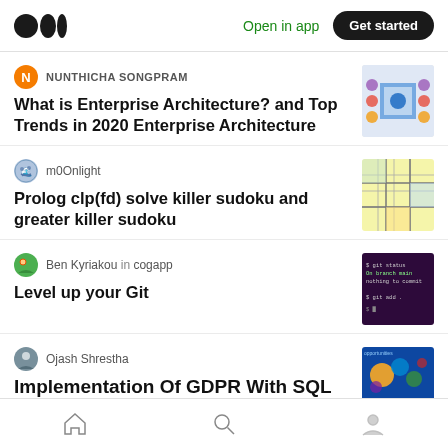Open in app | Get started
NUNTHICHA SONGPRAM
What is Enterprise Architecture? and Top Trends in 2020 Enterprise Architecture
m0Onlight
Prolog clp(fd) solve killer sudoku and greater killer sudoku
Ben Kyriakou in cogapp
Level up your Git
Ojash Shrestha
Implementation Of GDPR With SQL Server
Home | Search | Profile